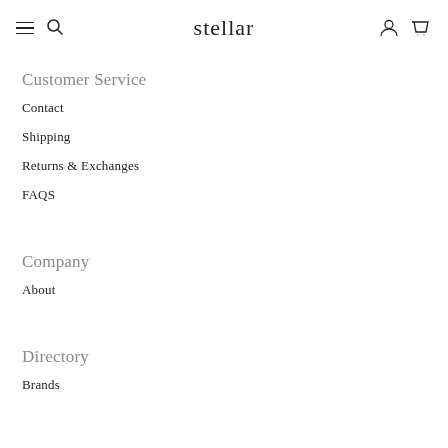stellar
Customer Service
Contact
Shipping
Returns & Exchanges
FAQS
Company
About
Directory
Brands